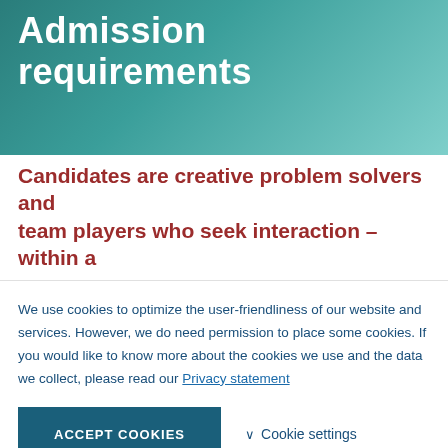Admission requirements
Candidates are creative problem solvers and team players who seek interaction – within a
We use cookies to optimize the user-friendliness of our website and services. However, we do need permission to place some cookies. If you would like to know more about the cookies we use and the data we collect, please read our Privacy statement
ACCEPT COOKIES
Cookie settings